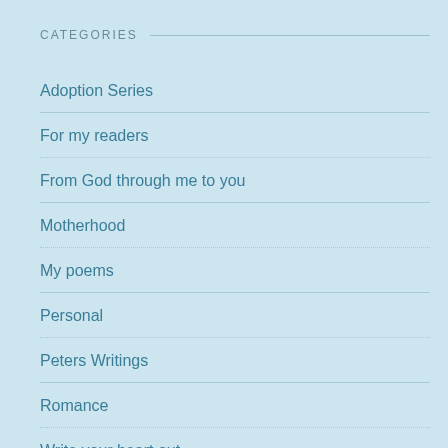CATEGORIES
Adoption Series
For my readers
From God through me to you
Motherhood
My poems
Personal
Peters Writings
Romance
Write your heart out